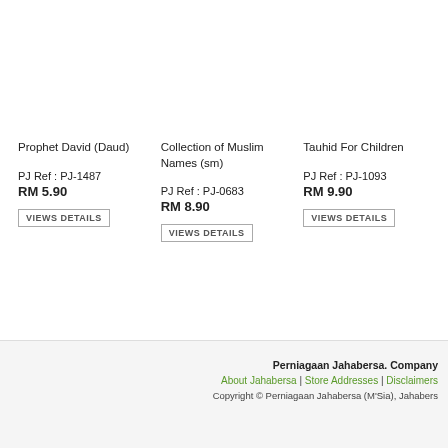Prophet David (Daud)
PJ Ref : PJ-1487
RM 5.90
VIEWS DETAILS
Collection of Muslim Names (sm)
PJ Ref : PJ-0683
RM 8.90
VIEWS DETAILS
Tauhid For Children
PJ Ref : PJ-1093
RM 9.90
VIEWS DETAILS
Perniagaan Jahabersa. Company | About Jahabersa | Store Addresses | Disclaimers | Copyright © Perniagaan Jahabersa (M'Sia), Jahabers